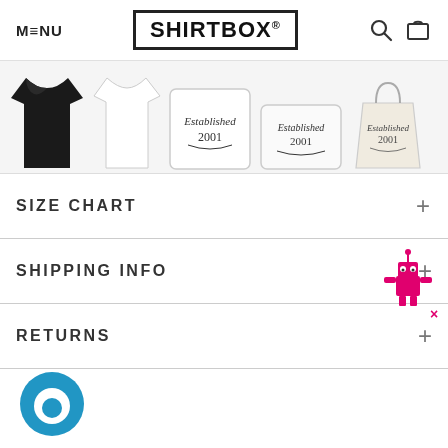MENU | SHIRTBOX® | [search icon] [cart icon]
[Figure (photo): Product thumbnail strip showing 5 items: black t-shirt, white t-shirt, white square pillow with 'Established 2001' text, white rectangular pillow with 'Established 2001' text, and a cream tote bag with 'Established 2001' text]
SIZE CHART
SHIPPING INFO
RETURNS
[Figure (logo): Blue circular chat widget / messenger icon in bottom left]
[Figure (illustration): Pink pixel-art robot mascot in bottom right corner near SIZE CHART section]